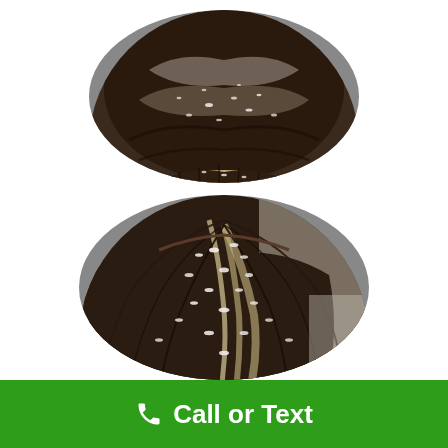[Figure (photo): Circular cropped close-up photo of a person's scalp and dark hair showing white dandruff flakes at the roots and parting area — top image]
[Figure (photo): Circular cropped close-up photo of a person's scalp and dark/highlighted hair showing heavy white dandruff flakes and scales at the roots — bottom image]
Call or Text